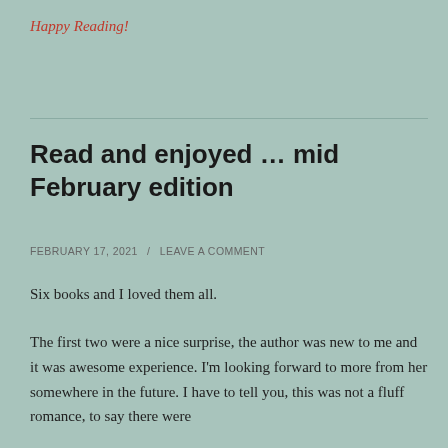Happy Reading!
Read and enjoyed … mid February edition
FEBRUARY 17, 2021 / LEAVE A COMMENT
Six books and I loved them all.
The first two were a nice surprise, the author was new to me and it was awesome experience. I'm looking forward to more from her somewhere in the future. I have to tell you, this was not a fluff romance, to say there were